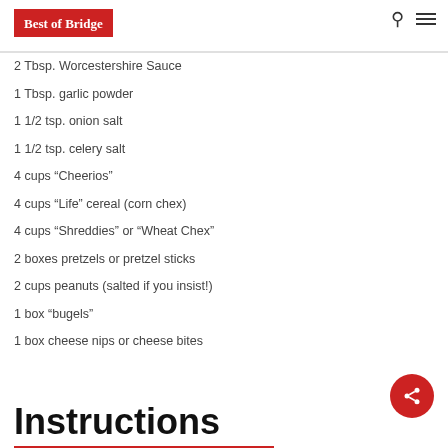Best of Bridge
2 Tbsp. Worcestershire Sauce
1 Tbsp. garlic powder
1 1/2 tsp. onion salt
1 1/2 tsp. celery salt
4 cups “Cheerios”
4 cups “Life” cereal (corn chex)
4 cups “Shreddies” or “Wheat Chex”
2 boxes pretzels or pretzel sticks
2 cups peanuts (salted if you insist!)
1 box “bugels”
1 box cheese nips or cheese bites
Instructions